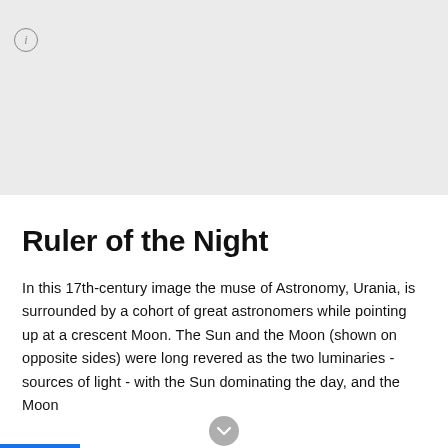Google Arts & Culture
[Figure (other): Gray image placeholder area representing a 17th-century artwork image]
Ruler of the Night
In this 17th-century image the muse of Astronomy, Urania, is surrounded by a cohort of great astronomers while pointing up at a crescent Moon. The Sun and the Moon (shown on opposite sides) were long revered as the two luminaries - sources of light - with the Sun dominating the day, and the Moon